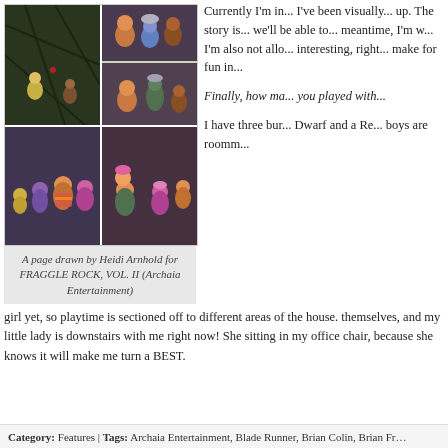[Figure (illustration): A page drawn by Heidi Arnhold for FRAGGLE ROCK, VOL. II (Archaia Entertainment) — comic book style panels showing Fraggle Rock characters in various scenes]
A page drawn by Heidi Arnhold for FRAGGLE ROCK, VOL. II (Archaia Entertainment)
Currently I'm in... I've been visual... up. The story is... we'll be able to... meantime, I'm w... I'm also not allo... interesting, righ... make for fun in...
Finally, how ma... you played with...
I have three bur... Dwarf and a Re... boys are roomm... girl yet, so playtime is sectioned off to different areas of the house. themselves, and my little lady is downstairs with me right now! She sitting in my office chair, because she knows it will make me turn a BEST.
Category: Features | Tags: Archaia Entertainment, Blade Runner, Brian Colin, Brian Fr...